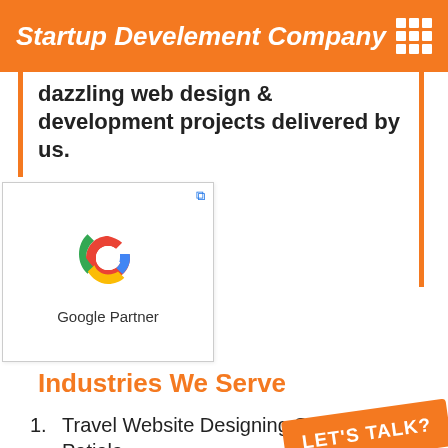Startup Develement Company
dazzling web design & development projects delivered by us.
[Figure (logo): Google Partner badge with Google G logo and text 'Google Partner']
Industries We Serve
Travel Website Designing Services in Patiala
Retail Shop Website Designing Company in Patiala
Healthcare Website Designing S... in Patiala